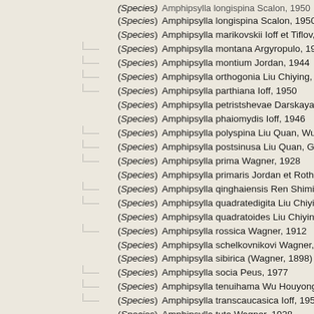(Species) Amphipsylla longispina Scalon, 1950
(Species) Amphipsylla marikovskii Ioff et Tiflov, 1939
(Species) Amphipsylla montana Argyropulo, 1946
(Species) Amphipsylla montium Jordan, 1944
(Species) Amphipsylla orthogonia Liu Chiying, Tsai Liyuen et
(Species) Amphipsylla parthiana Ioff, 1950
(Species) Amphipsylla petristshevae Darskaya, 1949
(Species) Amphipsylla phaiomydis Ioff, 1946
(Species) Amphipsylla polyspina Liu Quan, Wu Hou-yong et
(Species) Amphipsylla postsinusa Liu Quan, Guo Tian-yu et
(Species) Amphipsylla prima Wagner, 1928
(Species) Amphipsylla primaris Jordan et Rothschild, 1915
(Species) Amphipsylla qinghaiensis Ren Shiming et Ji Shuli,
(Species) Amphipsylla quadratedigita Liu Chiying, Wu Hoyc
(Species) Amphipsylla quadratoides Liu Chiying, Tsai Liyuen
(Species) Amphipsylla rossica Wagner, 1912
(Species) Amphipsylla schelkovnikovi Wagner, 1909
(Species) Amphipsylla sibirica (Wagner, 1898)
(Species) Amphipsylla socia Peus, 1977
(Species) Amphipsylla tenuihama Wu Houyong, Liu Quan et
(Species) Amphipsylla transcaucasica Ioff, 1953
(Species) Amphipsylla tuta Wagner, 1928